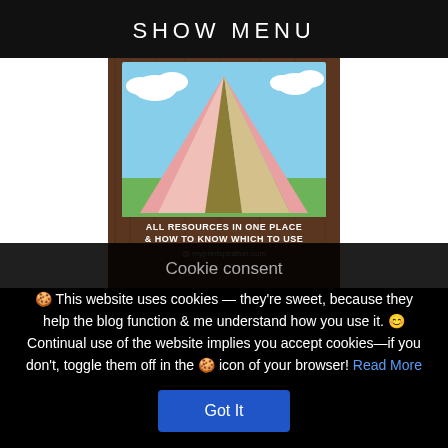SHOW MENU
[Figure (illustration): A camping tent illustration on a wooden board background with text 'ALL RESOURCES IN ONE PLACE & HOW TO KNOW WHICH TO USE' and a partially visible website URL]
Cookie consent
🍪 This website uses cookies — they're sweet, because they help the blog function & me understand how you use it. 😊 Continual use of the website implies you accept cookies—if you don't, toggle them off in the 🍪 icon of your browser! Read More
Got It